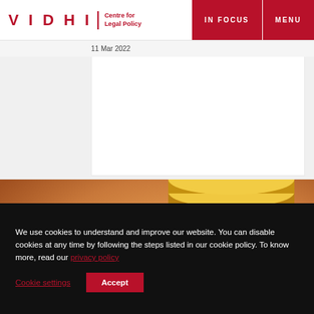VIDHI | Centre for Legal Policy — IN FOCUS | MENU
11 Mar 2022
[Figure (photo): Close-up photograph of gold Bitcoin coins stacked on a warm orange-brown background]
We use cookies to understand and improve our website. You can disable cookies at any time by following the steps listed in our cookie policy. To know more, read our privacy policy
Cookie settings  Accept